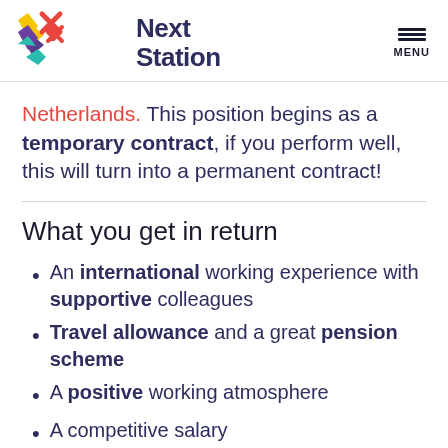Next Station | MENU
Netherlands. This position begins as a temporary contract, if you perform well, this will turn into a permanent contract!
What you get in return
An international working experience with supportive colleagues
Travel allowance and a great pension scheme
A positive working atmosphere
A competitive salary